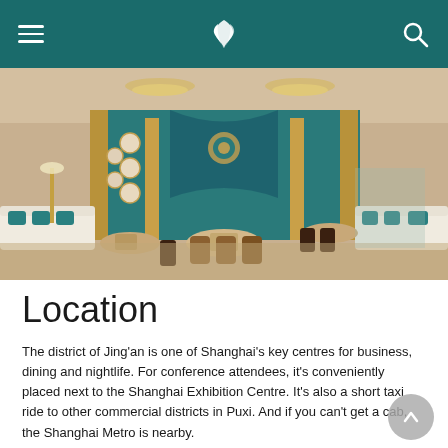[Figure (photo): Interior of a luxury hotel restaurant/lounge with teal and gold decor, white sofas with teal cushions, caramel-coloured dining chairs, round tables set for dining, ornate chandeliers, and a teal decorative wall with plate displays]
Location
The district of Jing'an is one of Shanghai's key centres for business, dining and nightlife. For conference attendees, it's conveniently placed next to the Shanghai Exhibition Centre. It's also a short taxi ride to other commercial districts in Puxi. And if you can't get a cab, the Shanghai Metro is nearby.